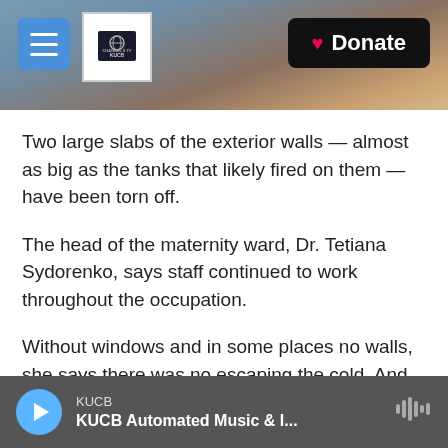[Figure (screenshot): Website header banner with snowy mountain background, hamburger menu button, KUCB Channel 8 TV logo, and Donate button]
Two large slabs of the exterior walls — almost as big as the tanks that likely fired on them — have been torn off.
The head of the maternity ward, Dr. Tetiana Sydorenko, says staff continued to work throughout the occupation.
Without windows and in some places no walls, she says there was no escaping the cold. And the shelling was just incessant.
"It's hard to explain — the explosions. It was in your
KUCB  KUCB Automated Music & I...